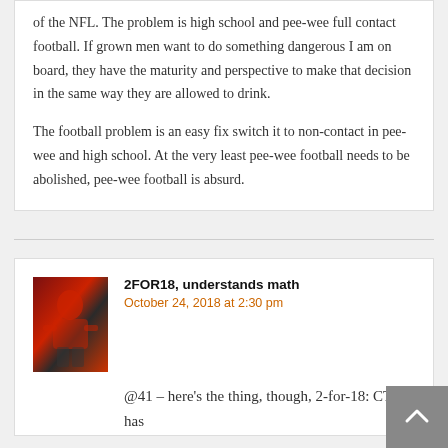of the NFL. The problem is high school and pee-wee full contact football. If grown men want to do something dangerous I am on board, they have the maturity and perspective to make that decision in the same way they are allowed to drink.
The football problem is an easy fix switch it to non-contact in pee-wee and high school. At the very least pee-wee football needs to be abolished, pee-wee football is absurd.
2FOR18, understands math
October 24, 2018 at 2:30 pm
@41 – here's the thing, though, 2-for-18: CTE has